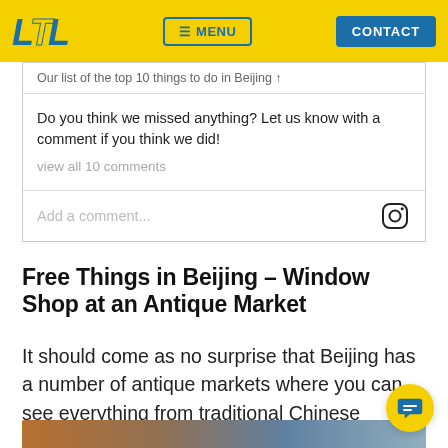LTL MENU CONTACT
Our list of the top 10 things to do in Beijing ↑
Do you think we missed anything? Let us know with a comment if you think we did!
view all 10 comments
Add a comment...
Free Things in Beijing – Window Shop at an Antique Market
It should come as no surprise that Beijing has a number of antique markets where you can see everything from traditional Chinese porcelain, copies of Mao's red book or a lucky cat toy.
[Figure (photo): Bottom strip showing antique market items]